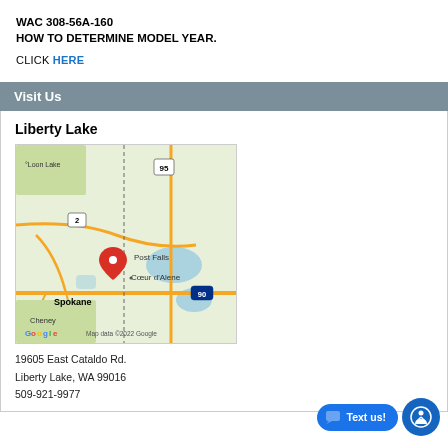WAC 308-56A-160
HOW TO DETERMINE MODEL YEAR.
CLICK HERE
Visit Us
Liberty Lake
[Figure (map): Google Map showing the Spokane / Liberty Lake / Coeur d'Alene area with a red location pin near Post Falls / Liberty Lake. Shows routes 2, 95, 90. Labels: Loon Lake, Post Falls, Coeur d'Alene, Spokane, Cheney. Map data ©2022 Google.]
19605 East Cataldo Rd.
Liberty Lake, WA 99016
509-921-9977